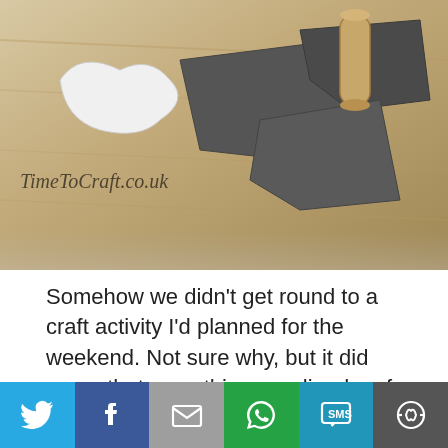[Figure (photo): Craft supplies on a wooden table: white paper cutouts, dark grey cardboard pieces, and a cardboard roll. Watermark reads 'TimeToCraft.co.uk']
Somehow we didn't get round to a craft activity I'd planned for the weekend. Not sure why, but it did mean that everything was lined up for us to do it after school yesterday. It happens to have a St David's day theme.
[Figure (photo): Dark photo of a child holding a piece of dark cardboard or paper, partially visible at bottom of page]
[Figure (infographic): Social share bar with Twitter, Facebook, Email, WhatsApp, SMS, and More buttons]